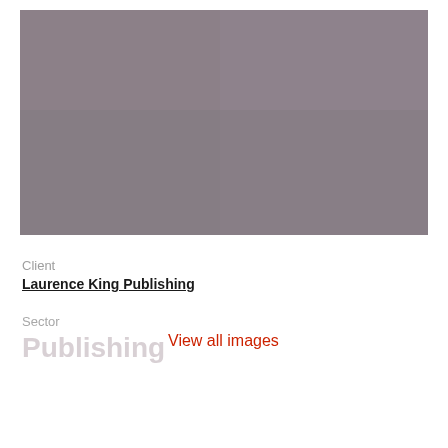[Figure (photo): A large rectangular placeholder image with a muted grayish-purple/mauve tone, spanning the top portion of the page.]
Client
Laurence King Publishing
Sector
Publishing
View all images